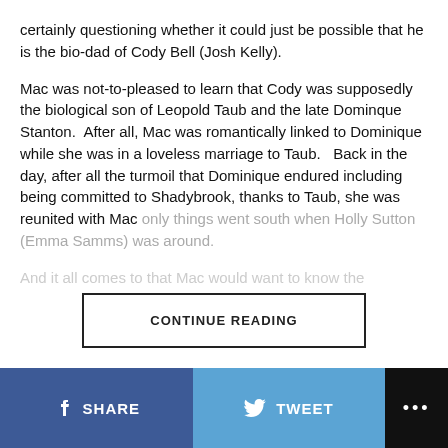certainly questioning whether it could just be possible that he is the bio-dad of Cody Bell (Josh Kelly).
Mac was not-to-pleased to learn that Cody was supposedly the biological son of Leopold Taub and the late Dominque Stanton.  After all, Mac was romantically linked to Dominique while she was in a loveless marriage to Taub.   Back in the day, after all the turmoil that Dominique endured including being committed to Shadybrook, thanks to Taub, she was reunited with Mac only things went south when Holly Sutton (Emma Samms) was around.
(faded/obscured text line)
CONTINUE READING
SHARE   TWEET   ...